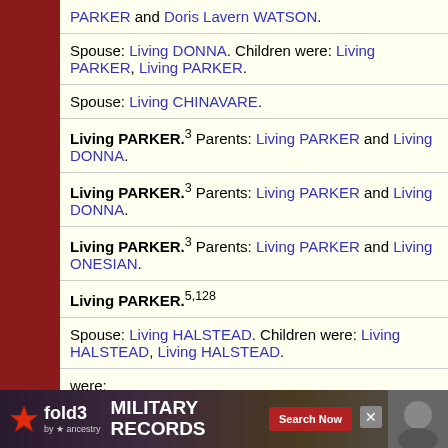PARKER and Doris Lavern WATSON.
Spouse: Living DONNA. Children were: Living PARKER, Living PARKER.
Spouse: Living CHINAVARE.
Living PARKER.3 Parents: Living PARKER and Living DONNA.
Living PARKER.3 Parents: Living PARKER and Living DONNA.
Living PARKER.3 Parents: Living PARKER and Living ONESIAN.
Living PARKER.5,128
Spouse: Living HALSTEAD. Children were: Living HALSTEAD, Living HALSTEAD.
were:
[Figure (screenshot): fold3 by Ancestry advertisement banner for Military Records with Search Now button]